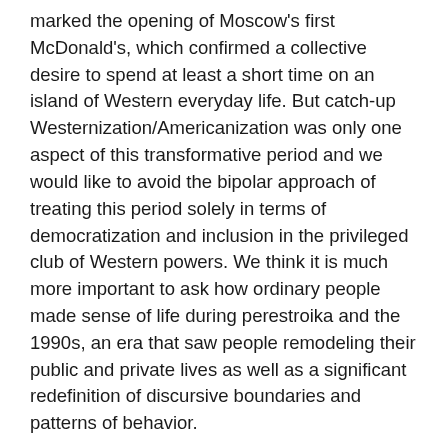marked the opening of Moscow's first McDonald's, which confirmed a collective desire to spend at least a short time on an island of Western everyday life. But catch-up Westernization/Americanization was only one aspect of this transformative period and we would like to avoid the bipolar approach of treating this period solely in terms of democratization and inclusion in the privileged club of Western powers. We think it is much more important to ask how ordinary people made sense of life during perestroika and the 1990s, an era that saw people remodeling their public and private lives as well as a significant redefinition of discursive boundaries and patterns of behavior.
Last but not least, in analyzing perestroika and the 1990s, we would like to go beyond the framework of writing national histories. Instead, we want to look at this period and the region from the perspective of entangled history. That is, we want to examine processes of